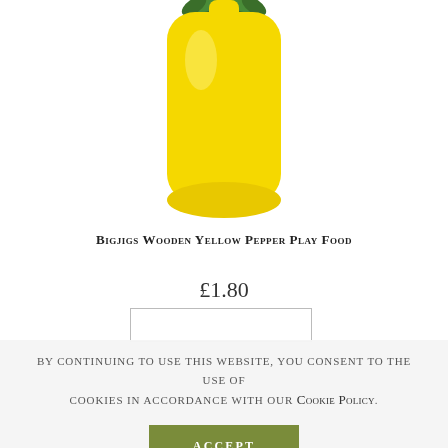[Figure (photo): A wooden yellow bell pepper play food toy with green stem on top, against a white background.]
Bigjigs Wooden Yellow Pepper Play Food
£1.80
By continuing to use this website, you consent to the use of cookies in accordance with our Cookie Policy.
Accept